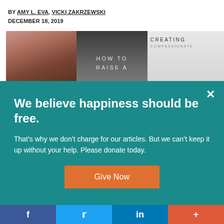BY AMY L. EVA, VICKI ZAKRZEWSKI
DECEMBER 18, 2019
[Figure (photo): Three book covers side by side: a warm-toned cover with partial face and italic text 'under', a black-and-white cover reading 'HOW TO RAISE A', and a light grey cover reading 'CREATING']
We believe happiness should be free.
That's why we don't charge for our articles. But we can't keep it up without your help. Please donate today.
Give Now
f  t  in  +